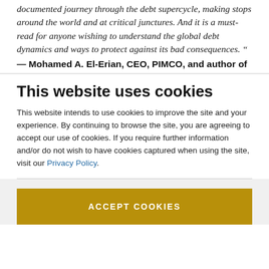documented journey through the debt supercycle, making stops around the world and at critical junctures. And it is a must-read for anyone wishing to understand the global debt dynamics and ways to protect against its bad consequences. ”
— Mohamed A. El-Erian, CEO, PIMCO, and author of
This website uses cookies
This website intends to use cookies to improve the site and your experience. By continuing to browse the site, you are agreeing to accept our use of cookies. If you require further information and/or do not wish to have cookies captured when using the site, visit our Privacy Policy.
ACCEPT COOKIES